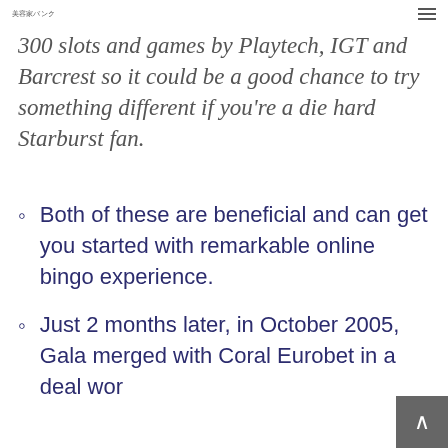美容家バンク
300 slots and games by Playtech, IGT and Barcrest so it could be a good chance to try something different if you're a die hard Starburst fan.
Both of these are beneficial and can get you started with remarkable online bingo experience.
Just 2 months later, in October 2005, Gala merged with Coral Eurobet in a deal wor